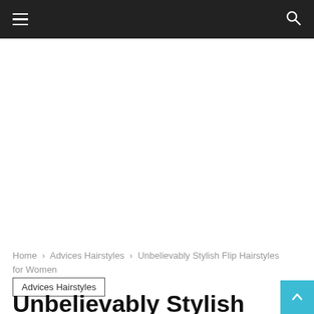≡  🔍
Home › Advices Hairstyles › Unbelievably Stylish Flip Hairstyles for Women
Advices Hairstyles
Unbelievably Stylish Flip